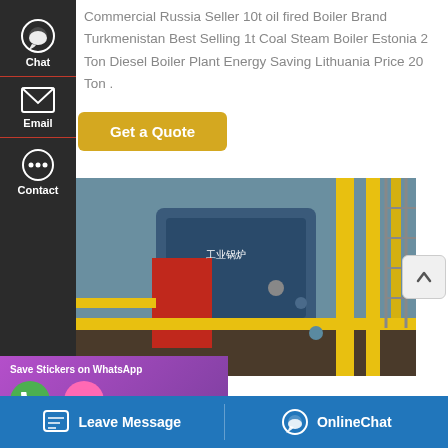Commercial Russia Seller 10t oil fired Boiler Brand Turkmenistan Best Selling 1t Coal Steam Boiler Estonia 2 Ton Diesel Boiler Plant Energy Saving Lithuania Price 20 Ton .
[Figure (screenshot): Get a Quote button (yellow/gold colored button)]
[Figure (photo): Industrial boiler equipment photo showing large blue and red boilers with yellow piping in a factory setting]
[Figure (screenshot): Left sidebar with Chat, Email, and Contact options on dark background]
[Figure (screenshot): WhatsApp sticker save banner with purple gradient background and emoji icons]
[Figure (screenshot): Bottom bar with Leave Message and OnlineChat buttons on blue background]